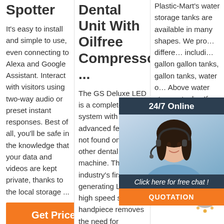Spotter
It's easy to install and simple to use, even connecting to Alexa and Google Assistant. Interact with visitors using two-way audio or preset instant responses. Best of all, you'll be safe in the knowledge that your data and videos are kept private, thanks to the local storage ...
Dental Unit With Oilfree Compressor ...
The GS Deluxe LED is a complete dental system with advanced features not found on any other dental machine. The industry's first self-generating LED light high speed swivel handpiece removes the need for troublesome fibre optic wiring, expensive krypton
Plastic-Mart's water storage tanks are available in many shapes. We provide different sizes including gallon gallon tanks, gallon tanks, water o... Above water storage tanks. If you need an upright vertical tank for short or long-term water storage, we have many sizes and ...
[Figure (other): 24/7 online chat widget with customer service agent photo, 'Click here for free chat!' text, and QUOTATION button]
[Figure (other): TOP badge/button in orange and grey dots style]